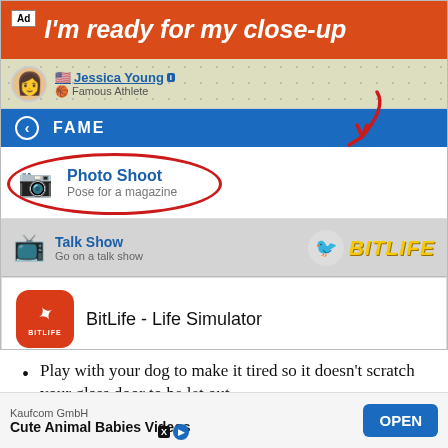[Figure (screenshot): BitLife mobile game advertisement screenshot showing: top red banner with 'I'm ready for my close-up', profile row with Jessica Young Famous Athlete, FAME navigation bar, Photo Shoot option circled in red with arrow annotation, Talk Show option with BitLife logo, BitLife Life Simulator app install card, and bulleted list items below]
Play with your dog to make it tired so it doesn't scratch your glass door to be let out
If y... over
[Figure (screenshot): Bottom banner ad: Kaufcom GmbH - Cute Animal Babies Videos with OPEN button]